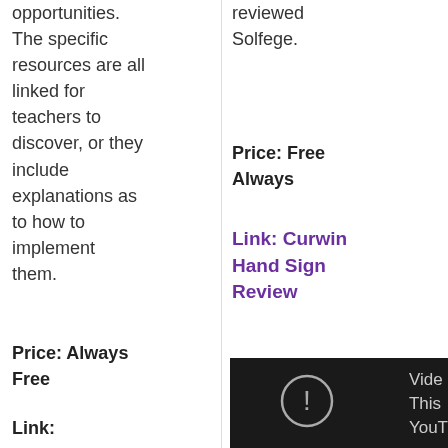opportunities. The specific resources are all linked for teachers to discover, or they include explanations as to how to implement them.
Price: Always Free
Link:
reviewed Solfege.
Price: Free Always
Link: Curwin Hand Sign Review
[Figure (screenshot): Dark/black video thumbnail showing a circle with exclamation mark icon and partial text 'Vide' and 'This YouT']